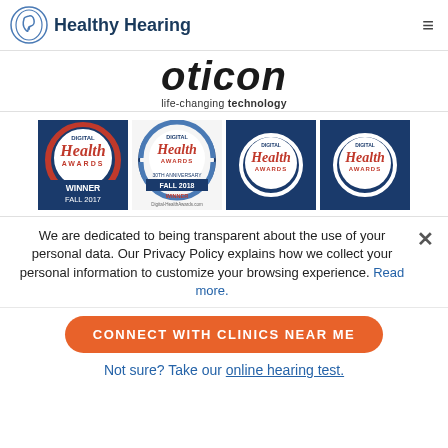Healthy Hearing
[Figure (logo): Oticon brand logo with 'life-changing technology' tagline]
[Figure (illustration): Four Digital Health Awards badges: Winner Fall 2017, Winner Fall 2018, and two additional Digital Health Awards badges]
We are dedicated to being transparent about the use of your personal data. Our Privacy Policy explains how we collect your personal information to customize your browsing experience. Read more.
CONNECT WITH CLINICS NEAR ME
Not sure? Take our online hearing test.